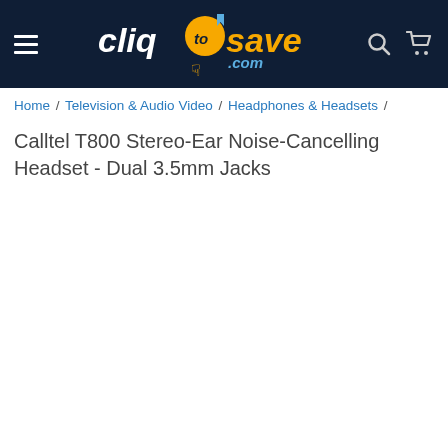cliqtosave.com
Home / Television & Audio Video / Headphones & Headsets / Calltel T800 Stereo-Ear Noise-Cancelling Headset - Dual 3.5mm Jacks
Calltel T800 Stereo-Ear Noise-Cancelling Headset - Dual 3.5mm Jacks